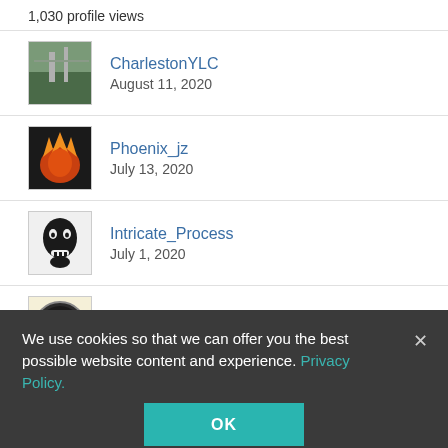1,030 profile views
CharlestonYLC
August 11, 2020
Phoenix_jz
July 13, 2020
Intricate_Process
July 1, 2020
EraserNZ1
February 5, 2020
Smuggler_
January 27, 2020
We use cookies so that we can offer you the best possible website content and experience. Privacy Policy.
OK